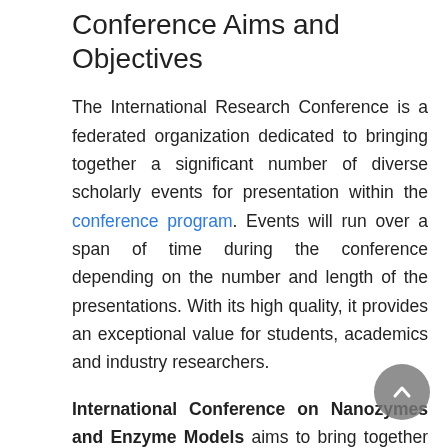Conference Aims and Objectives
The International Research Conference is a federated organization dedicated to bringing together a significant number of diverse scholarly events for presentation within the conference program. Events will run over a span of time during the conference depending on the number and length of the presentations. With its high quality, it provides an exceptional value for students, academics and industry researchers.
International Conference on Nanozymes and Enzyme Models aims to bring together leading academic scientists, researchers and research scholars to exchange and share their experiences and research results on all aspects of Nanozymes and Enzyme Models. It also provides a premier interdisciplinary platform for researchers, practitioners and educators